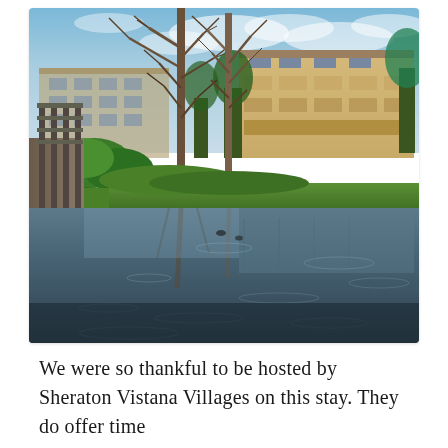[Figure (photo): Outdoor photo of a pond or lake with a wooden walkway/railing on the left, bare-branched trees in the foreground and lush green shrubs, green lawn along the water's edge, and multi-story condominium or hotel buildings (beige/cream colored, 4-5 floors) reflected in the calm water under a partly cloudy blue sky.]
We were so thankful to be hosted by Sheraton Vistana Villages on this stay. They do offer time